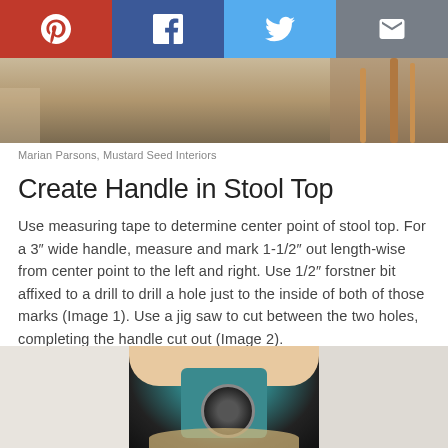[Figure (infographic): Social sharing bar with Pinterest, Facebook, Twitter, and email icons]
[Figure (photo): Top cropped photo of a wooden stool]
Marian Parsons, Mustard Seed Interiors
Create Handle in Stool Top
Use measuring tape to determine center point of stool top. For a 3" wide handle, measure and mark 1-1/2" out length-wise from center point to the left and right. Use 1/2" forstner bit affixed to a drill to drill a hole just to the inside of both of those marks (Image 1). Use a jig saw to cut between the two holes, completing the handle cut out (Image 2).
[Figure (photo): Photo of a drill being used on wood to create handle holes in stool top]